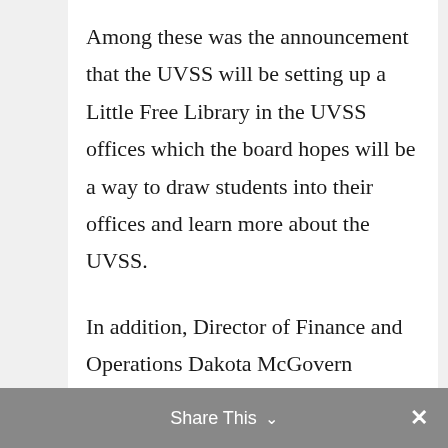Among these was the announcement that the UVSS will be setting up a Little Free Library in the UVSS offices which the board hopes will be a way to draw students into their offices and learn more about the UVSS.
In addition, Director of Finance and Operations Dakota McGovern announced that board games have been set up in the SUB, while Sampson advised that there will be shuttles available to take students to Swartz Bay for Reading Brea...
Share This ∨  ✕